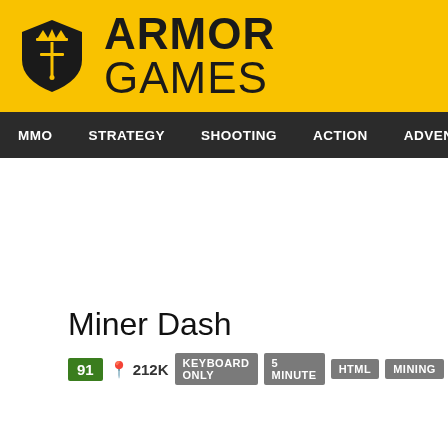[Figure (logo): Armor Games logo with yellow header bar, shield icon, and bold text ARMOR GAMES]
MMO  STRATEGY  SHOOTING  ACTION  ADVENTURE  P
Miner Dash
91  212K  KEYBOARD ONLY  5 MINUTE  HTML  MINING  ARCADE